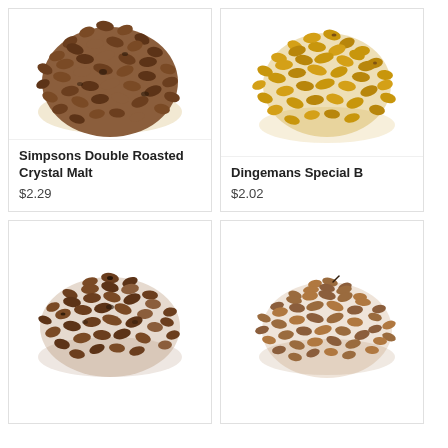[Figure (photo): Pile of dark brown crystal malt grain (Simpsons Double Roasted Crystal Malt)]
Simpsons Double Roasted Crystal Malt
$2.29
[Figure (photo): Pile of golden/amber grain (Dingemans Special B)]
Dingemans Special B
$2.02
[Figure (photo): Pile of dark roasted grain, bottom left product]
[Figure (photo): Pile of medium brown grain, bottom right product]